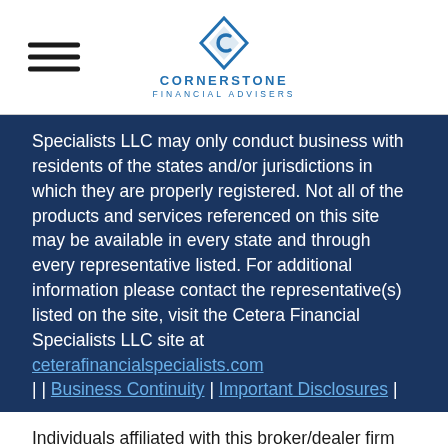Cornerstone Financial Advisers
Specialists LLC may only conduct business with residents of the states and/or jurisdictions in which they are properly registered. Not all of the products and services referenced on this site may be available in every state and through every representative listed. For additional information please contact the representative(s) listed on the site, visit the Cetera Financial Specialists LLC site at ceterafinancialspecialists.com
| | Business Continuity | Important Disclosures |
Individuals affiliated with this broker/dealer firm are either Registered Representatives who offer only brokerage services and receive transaction-based compensation (commissions), Investment Adviser Representatives who offer only investment advisory services and receive fees